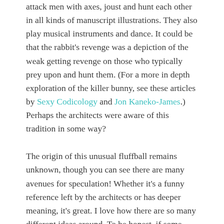attack men with axes, joust and hunt each other in all kinds of manuscript illustrations. They also play musical instruments and dance. It could be that the rabbit's revenge was a depiction of the weak getting revenge on those who typically prey upon and hunt them. (For a more in depth exploration of the killer bunny, see these articles by Sexy Codicology and Jon Kaneko-James.) Perhaps the architects were aware of this tradition in some way?
The origin of this unusual fluffball remains unknown, though you can see there are many avenues for speculation! Whether it's a funny reference left by the architects or has deeper meaning, it's great. I love how there are so many different ideas around. To be honest, if some document emerged revealing exactly why the rabbit was sculpted, I don't think I'd want to know the